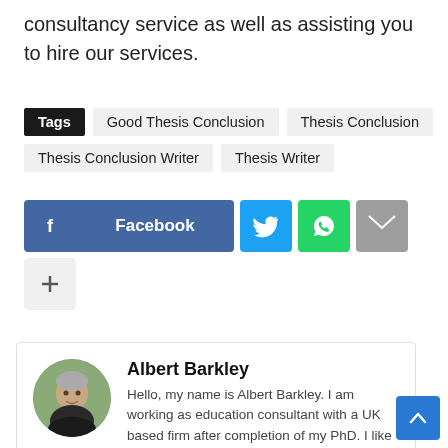consultancy service as well as assisting you to hire our services.
Tags  Good Thesis Conclusion  Thesis Conclusion  Thesis Conclusion Writer  Thesis Writer
[Figure (infographic): Social sharing buttons: Facebook, Twitter, WhatsApp, Email, and a plus/more button]
Albert Barkley
Hello, my name is Albert Barkley. I am working as education consultant with a UK based firm after completion of my PhD. I like to write on different social, tech and education trends.